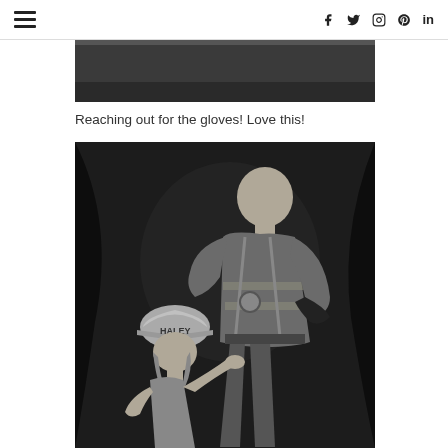≡   f  twitter  instagram  pinterest  in
[Figure (photo): Top portion of a black and white photograph, dark background]
Reaching out for the gloves! Love this!
[Figure (photo): Black and white photograph of a child wearing a firefighter helmet reaching out toward a firefighter in full gear who is holding gloves]